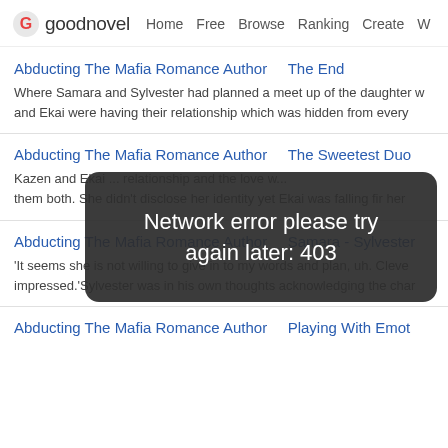goodnovel — Home  Free  Browse  Ranking  Create  W
Abducting The Mafia Romance Author    The End
Where Samara and Sylvester had planned a meet up of the daughter w... and Ekai were having their relationship which was hidden from every...
[Figure (screenshot): Dark rounded rectangle overlay showing error message: Network error please try again later: 403]
Abducting The Mafia Romance Author    The Sweetest Duo
Kazen and Ekai ... relationship and the love w... them both. She didn't disclose her identity yet Ekai was falling fir her...
Abducting The Mafia Romance Author    Samara - Sylvester
'It seems she is not willing to give in to my words and plan, uh. Cleve... impressed.'Sylvester was in his own thoughts acknowledging the char...
Abducting The Mafia Romance Author    Playing With Emot